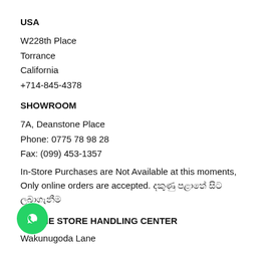USA
W228th Place
Torrance
California
+714-845-4378
SHOWROOM
7A, Deanstone Place
Phone: 0775 78 98 28
Fax: (099) 453-1357
In-Store Purchases are Not Available at this moments, Only online orders are accepted. දකුණු පළාතේ සිට ලබාගැනීම
ONLINE STORE HANDLING CENTER
Wakunugoda Lane